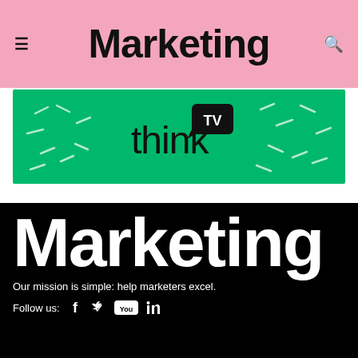Marketing
[Figure (logo): ThinkTV logo on green banner background with decorative dash marks]
Marketing
Our mission is simple: help marketers excel.
Follow us: